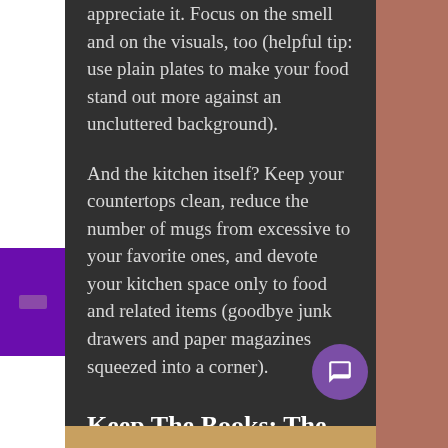appreciate it. Focus on the smell and on the visuals, too (helpful tip: use plain plates to make your food stand out more against an uncluttered background).
And the kitchen itself? Keep your countertops clean, reduce the number of mugs from excessive to your favorite ones, and devote your kitchen space only to food and related items (goodbye junk drawers and paper magazines squeezed into a corner).
Keep The Books: The Living Room